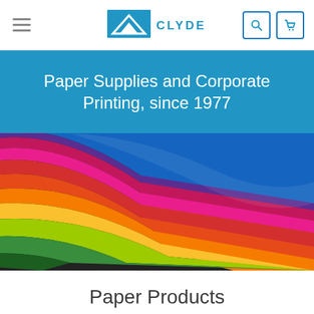CLYDE — Paper Supplies and Corporate Printing navigation bar
Paper Supplies and Corporate Printing, since 1977
[Figure (photo): Close-up photograph of fanned colorful paper sheets showing blue, purple, pink, magenta, red, orange, yellow, and green colors curving in an arc]
Paper Products